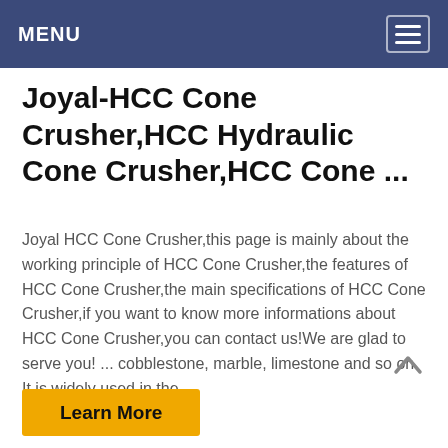MENU
Joyal-HCC Cone Crusher,HCC Hydraulic Cone Crusher,HCC Cone ...
Joyal HCC Cone Crusher,this page is mainly about the working principle of HCC Cone Crusher,the features of HCC Cone Crusher,the main specifications of HCC Cone Crusher,if you want to know more informations about HCC Cone Crusher,you can contact us!We are glad to serve you! ... cobblestone, marble, limestone and so on. It is widely used in the ...
Learn More